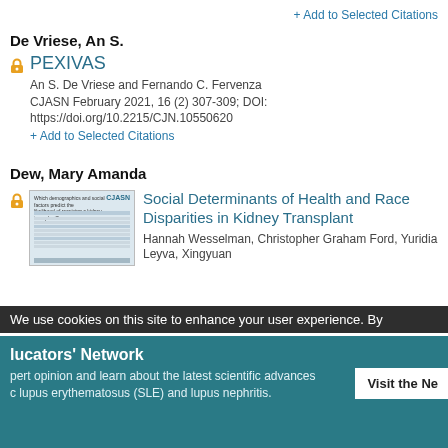+ Add to Selected Citations
De Vriese, An S.
PEXIVAS
An S. De Vriese and Fernando C. Fervenza
CJASN February 2021, 16 (2) 307-309; DOI: https://doi.org/10.2215/CJN.10550620
+ Add to Selected Citations
Dew, Mary Amanda
[Figure (screenshot): Thumbnail image of CJASN article about demographics and social factors predicting likelihood of receiving a kidney transplant]
Social Determinants of Health and Race Disparities in Kidney Transplant
Hannah Wesselman, Christopher Graham Ford, Yuridia Leyva, Xingyuan
We use cookies on this site to enhance your user experience. By
lucators' Network
pert opinion and learn about the latest scientific advances c lupus erythematosus (SLE) and lupus nephritis.
Visit the Ne